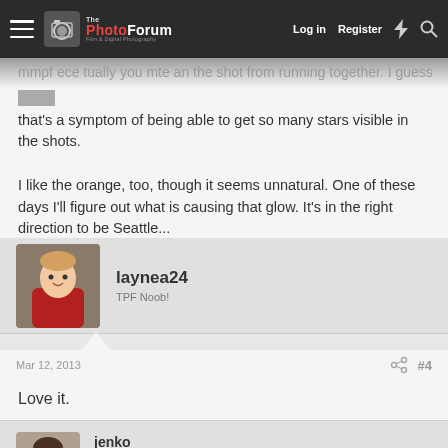ThePhotoForum - Film & Digital Photography | Log in | Register
that's a symptom of being able to get so many stars visible in the shots.

I like the orange, too, though it seems unnatural. One of these days I'll figure out what is causing that glow. It's in the right direction to be Seattle...
laynea24
TPF Noob!
Mar 12, 2013  #4
Love it.
jenko
TPF Supporters  Supporting Member